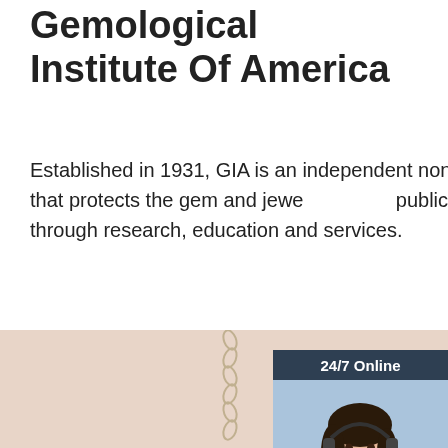Gemological Institute Of America
Established in 1931, GIA is an independent nonprofit that protects the gem and jewelry-buying public through research, education and services.
Get Price
[Figure (other): Chat widget with '24/7 Online' header, photo of a woman with headset, 'Click here for free chat!' text, and an orange 'QUOTATION' button]
[Figure (photo): Bottom section showing a jewelry necklace chain on a warm beige/peach background, with an orange TOP badge in the bottom right corner]